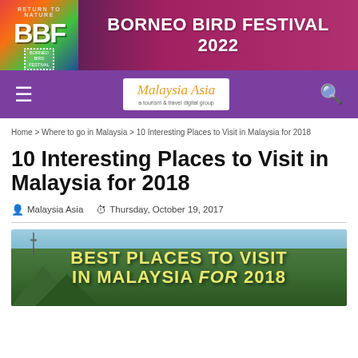[Figure (illustration): Borneo Bird Festival 2022 banner advertisement with BBF logo on left and text 'BORNEO BIRD FESTIVAL 2022' on right, pink/purple background with nature imagery]
[Figure (logo): Malaysia Asia navigation bar with hamburger menu, Malaysia Asia logo in cursive script, and search icon on purple background]
Home > Where to go in Malaysia > 10 Interesting Places to Visit in Malaysia for 2018
10 Interesting Places to Visit in Malaysia for 2018
Malaysia Asia   Thursday, October 19, 2017
[Figure (photo): Photo of green forested hills/mountains with overlay text 'BEST PLACES TO VISIT IN MALAYSIA for 2018' in bold yellow text]